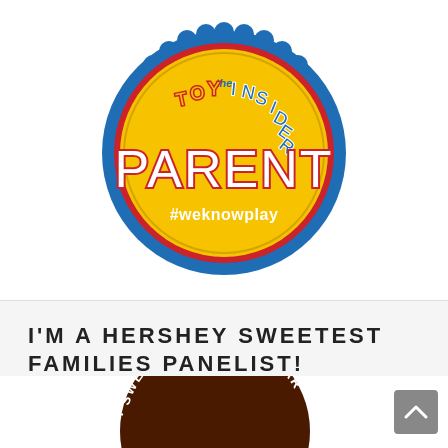[Figure (logo): The Toy Insider Parent badge/seal: blue scalloped-edge circular seal with yellow/gold sunburst center, red ring, text 'the TOY INSIDER' at top in colorful lettering, large white 'PARENT' text in center, and '#weknowplay' in white at bottom.]
I'M A HERSHEY SWEETEST FAMILIES PANELIST!
[Figure (logo): Hershey 'Sweetest Place on Earth' dark brown circular badge/seal, partially visible at bottom of page.]